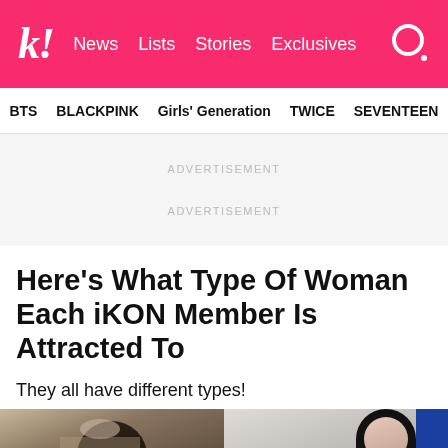k! News Lists Stories Exclusives
BTS BLACKPINK Girls' Generation TWICE SEVENTEEN
ADVERTISEMENT
ADVERTISEMENT
Here’s What Type Of Woman Each iKON Member Is Attracted To
They all have different types!
[Figure (photo): Two side-by-side photos: left shows a person with dark hair from behind/top, right shows a woman with long black hair against a blue banner background]